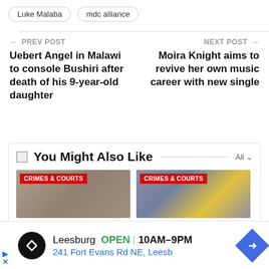Luke Malaba
mdc alliance
← PREV POST
NEXT POST →
Uebert Angel in Malawi to console Bushiri after death of his 9-year-old daughter
Moira Knight aims to revive her own music career with new single
You Might Also Like
CRIMES & COURTS
CRIMES & COURTS
Leesburg OPEN 10AM–9PM 241 Fort Evans Rd NE, Leesb